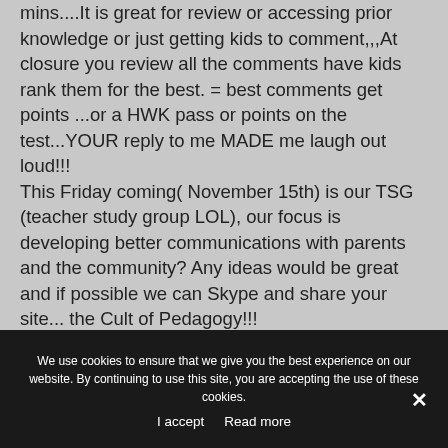mins....It is great for review or accessing prior knowledge or just getting kids to comment,,,At closure you review all the comments have kids rank them for the best. = best comments get points ...or a HWK pass or points on the test...YOUR reply to me MADE me laugh out loud!!! This Friday coming( November 15th) is our TSG (teacher study group LOL), our focus is developing better communications with parents and the community? Any ideas would be great and if possible we can Skype and share your site... the Cult of Pedagogy!!!
We use cookies to ensure that we give you the best experience on our website. By continuing to use this site, you are accepting the use of these cookies.
I accept   Read more